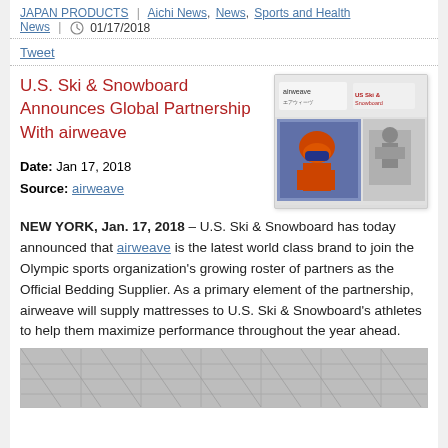JAPAN PRODUCTS | Aichi News, News, Sports and Health News | 01/17/2018
Tweet
U.S. Ski & Snowboard Announces Global Partnership With airweave
[Figure (photo): Collage of airweave and US Ski & Snowboard logos with photos of a skier and a person carrying boxes]
Date: Jan 17, 2018
Source: airweave
NEW YORK, Jan. 17, 2018 – U.S. Ski & Snowboard has today announced that airweave is the latest world class brand to join the Olympic sports organization's growing roster of partners as the Official Bedding Supplier. As a primary element of the partnership, airweave will supply mattresses to U.S. Ski & Snowboard's athletes to help them maximize performance throughout the year ahead.
[Figure (photo): Close-up photo of airweave mattress material]